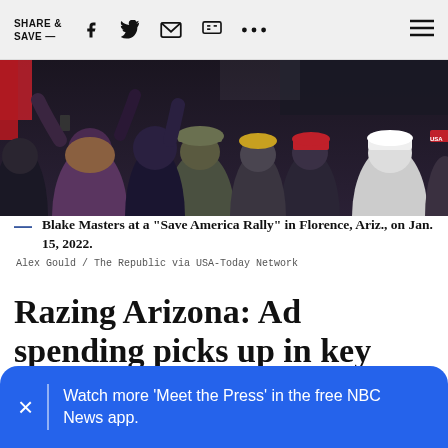SHARE & SAVE —
[Figure (photo): Crowd of people at a rally, seen from behind, many wearing caps including red and camouflage hats]
Blake Masters at a "Save America Rally" in Florence, Ariz., on Jan. 15, 2022.
Alex Gould / The Republic via USA-Today Network
Razing Arizona: Ad spending picks up in key Senate race
Republican Blake Masters placed his first TV ad buy of
Watch more 'Meet the Press' in the free NBC News app.